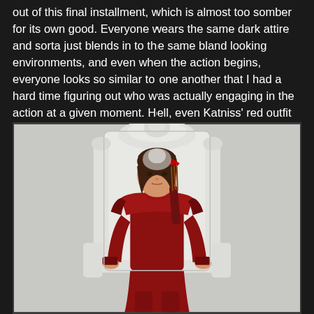out of this final installment, which is almost too somber for its own good. Everyone wears the same dark attire and sorta just blends in to the same bland looking environments, and even when the action begins, everyone looks so similar to one another that I had a hard time figuring out who was actually engaging in the action at a given moment. Hell, even Katniss' red outfit from all the promotional material...
[Figure (photo): Promotional image of Katniss (Jennifer Lawrence) from The Hunger Games: Mockingjay, wearing a red leather outfit and sitting on a white ornate throne-like chair, with a quiver of arrows on her back. The background is light grey.]